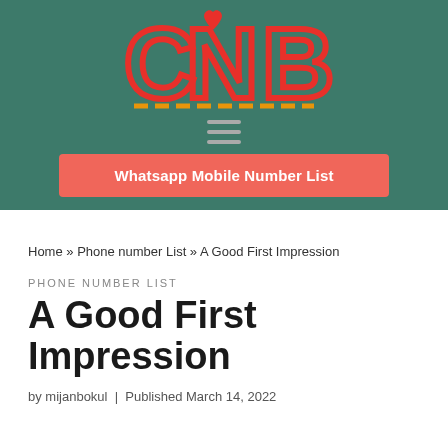[Figure (logo): CNB logo with red letters C, N, B and a red heart above N, on a teal/green background, with an orange-yellow dashed underline. Below the logo is a hamburger menu icon. Below that is a red-orange button labeled 'Whatsapp Mobile Number List'.]
Home » Phone number List » A Good First Impression
PHONE NUMBER LIST
A Good First Impression
by mijanbokul  |  Published March 14, 2022